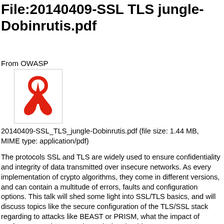File:20140409-SSL TLS jungle-Dobinrutis.pdf
From OWASP
[Figure (illustration): Adobe Acrobat PDF file icon — red stylized figure on white background with border]
20140409-SSL_TLS_jungle-Dobinrutis.pdf (file size: 1.44 MB, MIME type: application/pdf)
The protocols SSL and TLS are widely used to ensure confidentiality and integrity of data transmitted over insecure networks. As every implementation of crypto algorithms, they come in different versions, and can contain a multitude of errors, faults and configuration options. This talk will shed some light into SSL/TLS basics, and will discuss topics like the secure configuration of the TLS/SSL stack regarding to attacks like BEAST or PRISM, what the impact of Perfect Forward Secrecy is, and who should use RC4...